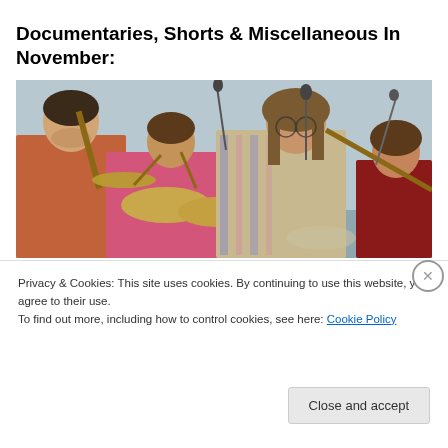Documentaries, Shorts & Miscellaneous In November:
[Figure (photo): Four musicians (resembling The Beatles) in a recording studio. One plays bass on the left wearing an orange shirt, one sits at drums in a pink floral shirt, one stands center-front with long hair and a striped shirt, and one is partially visible on the right in a red shirt.]
Privacy & Cookies: This site uses cookies. By continuing to use this website, you agree to their use.
To find out more, including how to control cookies, see here: Cookie Policy
Close and accept